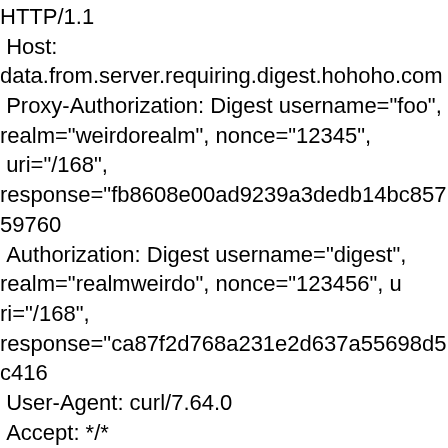HTTP/1.1
 Host:
data.from.server.requiring.digest.hohoho.com
 Proxy-Authorization: Digest username="foo",
realm="weirdorealm", nonce="12345",
 uri="/168",
response="fb8608e00ad9239a3dedb14bc85759760
 Authorization: Digest username="digest",
realm="realmweirdo", nonce="123456", u
ri="/168",
response="ca87f2d768a231e2d637a55698d5c416
 User-Agent: curl/7.64.0
 Accept: */*
 Proxy-Connection: Keep-Alive
=== End of file server.input
=== Start of file server.response
 HTTP/1.1 200 OK
 Content-Length: 17
 WE ROOLZ: 23577
 HTTP/1.1 407 Authorization Required to proxy